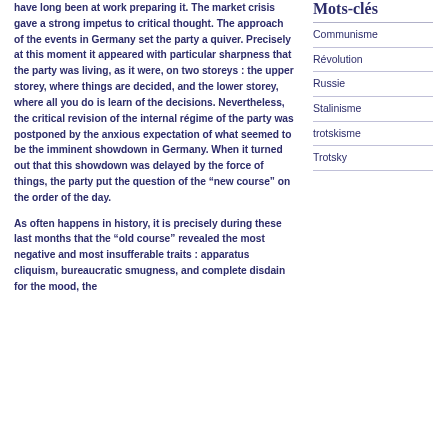have long been at work preparing it. The market crisis gave a strong impetus to critical thought. The approach of the events in Germany set the party a quiver. Precisely at this moment it appeared with particular sharpness that the party was living, as it were, on two storeys : the upper storey, where things are decided, and the lower storey, where all you do is learn of the decisions. Nevertheless, the critical revision of the internal régime of the party was postponed by the anxious expectation of what seemed to be the imminent showdown in Germany. When it turned out that this showdown was delayed by the force of things, the party put the question of the “new course” on the order of the day.
As often happens in history, it is precisely during these last months that the “old course” revealed the most negative and most insufferable traits : apparatus cliquism, bureaucratic smugness, and complete disdain for the mood, the
Mots-clés
Communisme
Révolution
Russie
Stalinisme
trotskisme
Trotsky